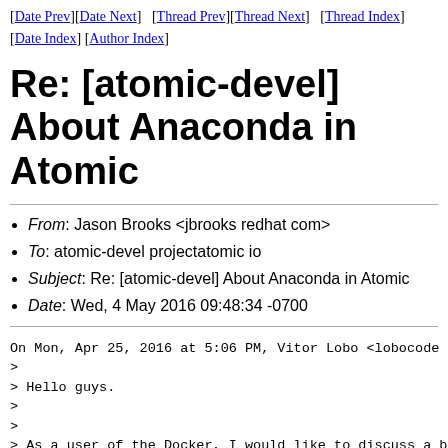[Date Prev][Date Next]  [Thread Prev][Thread Next]  [Thread Index] [Date Index] [Author Index]
Re: [atomic-devel] About Anaconda in Atomic
From: Jason Brooks <jbrooks redhat com>
To: atomic-devel projectatomic io
Subject: Re: [atomic-devel] About Anaconda in Atomic
Date: Wed, 4 May 2016 09:48:34 -0700
On Mon, Apr 25, 2016 at 5:06 PM, Vitor Lobo <lobocode gma
>
> Hello guys.
>
>
> As a user of the Docker, I would like to discuss a bett
Anaconda isn't in the atomic tree. You use it to install
image, but once your system is up, and docker comes into
anaconda isn't around at all. If you deploy from one of t
images, it never enters into the picture. I agree that